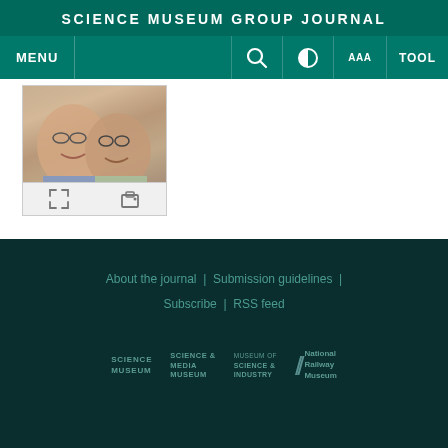SCIENCE MUSEUM GROUP JOURNAL
MENU | Search | Contrast | AAA | TOOL
[Figure (photo): A photograph showing two smiling men, partially cropped, with expand and print toolbar icons below.]
About the journal  |  Submission guidelines  |  Subscribe  |  RSS feed
[Figure (logo): Science Museum logo]
[Figure (logo): Science Media Museum logo]
[Figure (logo): Museum of Science & Industry logo]
[Figure (logo): National Railway Museum logo]